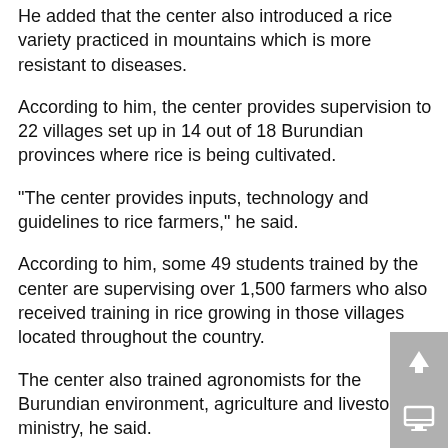He added that the center also introduced a rice variety practiced in mountains which is more resistant to diseases.
According to him, the center provides supervision to 22 villages set up in 14 out of 18 Burundian provinces where rice is being cultivated.
"The center provides inputs, technology and guidelines to rice farmers," he said.
According to him, some 49 students trained by the center are supervising over 1,500 farmers who also received training in rice growing in those villages located throughout the country.
The center also trained agronomists for the Burundian environment, agriculture and livestock ministry, he said.
To increase the rice production in Burundi, he advised farmers to speed up the development of hybrid rice in low lands, not only in the Imbo region (west Burundi), but also in the Moso region (east Burundi).
He added that there is a need to grow new rice varieties with high resistance to diseases in high-altitude regions.